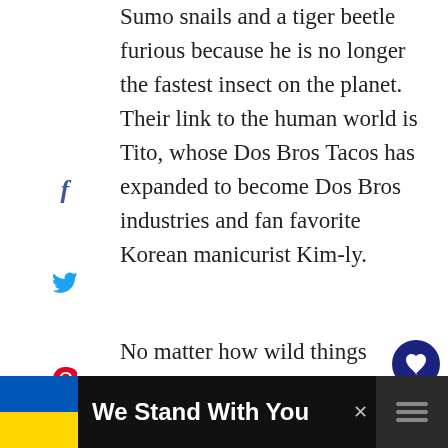Sumo snails and a tiger beetle furious because he is no longer the fastest insect on the planet. Their link to the human world is Tito, whose Dos Bros Tacos has expanded to become Dos Bros industries and fan favorite Korean manicurist Kim-ly.
No matter how wild things get, the Fast Action Stunt Team always has each other's backs and their need for speed delivers a whole new level of fun.
[Figure (other): Social media sharing sidebar with Facebook, Twitter, Pinterest, and Yum icons; shares count showing 0 SHARES]
[Figure (other): Right side action buttons: heart/like button in dark blue circle, count of 1, and share button]
[Figure (other): Advertisement banner at bottom: Ukraine flag colors (blue and yellow), text 'We Stand With You', close button X, and right side icon block]